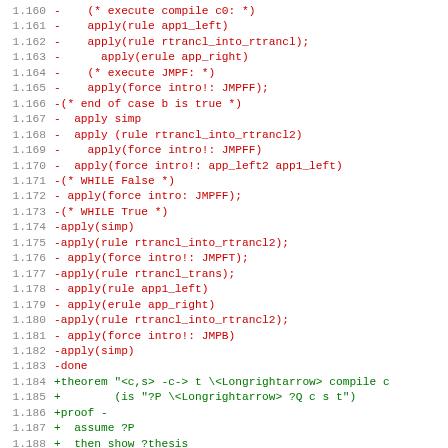[Figure (screenshot): Code diff snippet showing lines 1.160 to 1.191 with red (removed) and green (added) lines of proof script code in a monospace font on white background.]